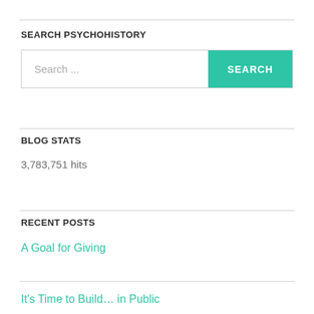SEARCH PSYCHOHISTORY
[Figure (other): Search bar with text input placeholder 'Search ...' and a teal 'SEARCH' button]
BLOG STATS
3,783,751 hits
RECENT POSTS
A Goal for Giving
It's Time to Build... in Public